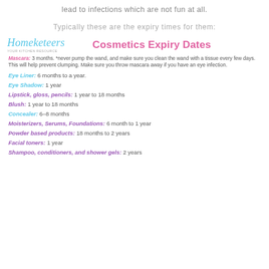lead to infections which are not fun at all.
Typically these are the expiry times for them:
[Figure (logo): Homeketeers logo in cursive blue font with tagline]
Cosmetics Expiry Dates
Mascara: 3 months. *never pump the wand, and make sure you clean the wand with a tissue every few days. This will help prevent clumping. Make sure you throw mascara away if you have an eye infection.
Eye Liner: 6 months to a year.
Eye Shadow: 1 year
Lipstick, gloss, pencils: 1 year to 18 months
Blush: 1 year to 18 months
Concealer: 6-8 months
Moisterizers, Serums, Foundations: 6 month to 1 year
Powder based products: 18 months to 2 years
Facial toners: 1 year
Shampoo, conditioners, and shower gels: 2 years